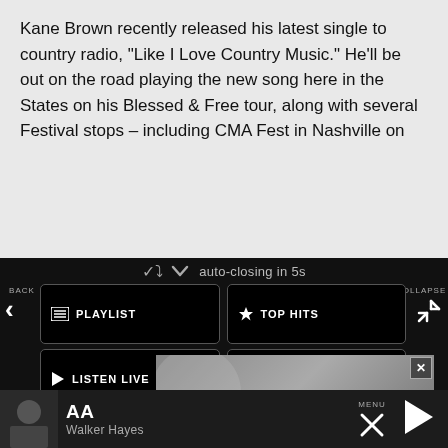Kane Brown recently released his latest single to country radio, “Like I Love Country Music.” He’ll be out on the road playing the new song here in the States on his Blessed & Free tour, along with several Festival stops – including CMA Fest in Nashville on
[Figure (screenshot): Dark navigation overlay with auto-closing banner showing chevron down icon and 'auto-closing in 5s' text, BACK/COLLAPSE labels with arrows, and five navigation buttons: PLAYLIST, TOP HITS, LISTEN LIVE, MY VOTES, CONTROLS. Below is a Data opt-out toggle row, an advertisement banner showing 'TOP' text partially, and a playback bar at the bottom with thumbnail, 'AA' title, 'Walker Hayes' artist, MENU label, X and play controls.]